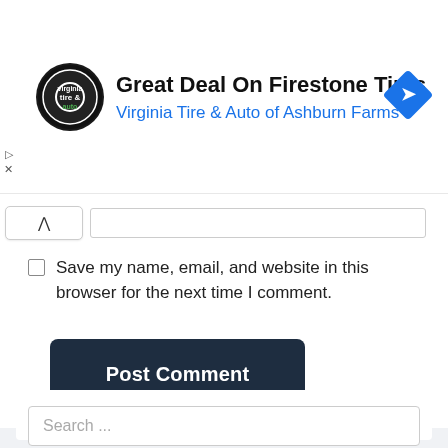[Figure (other): Advertisement banner for Virginia Tire & Auto of Ashburn Farms featuring the company logo, heading 'Great Deal On Firestone Tires', subtitle 'Virginia Tire & Auto of Ashburn Farms', and a blue diamond navigation icon. Small play and close controls on the left side.]
Save my name, email, and website in this browser for the next time I comment.
Post Comment
Search ...